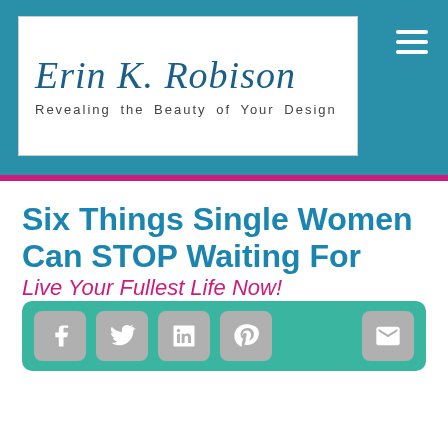Erin K. Robison — Revealing the Beauty of Your Design
Six Things Single Women Can STOP Waiting For
Live Your Fullest Life Now!
[Figure (other): Social media share buttons bar with Facebook, Twitter, LinkedIn, Pinterest icons and an email icon on the right, on a teal background]